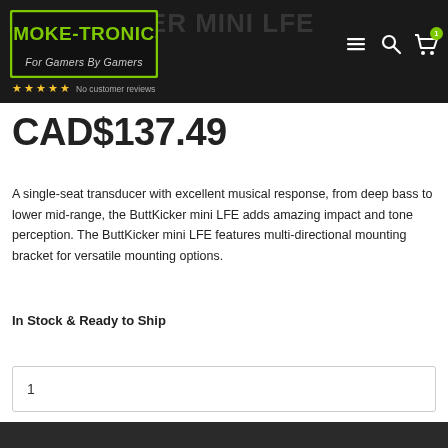Smoke-Tronics — For Gamers By Gamers
CAD$137.49
A single-seat transducer with excellent musical response, from deep bass to lower mid-range, the ButtKicker mini LFE adds amazing impact and tone perception. The ButtKicker mini LFE features multi-directional mounting bracket for versatile mounting options.
In Stock & Ready to Ship
1